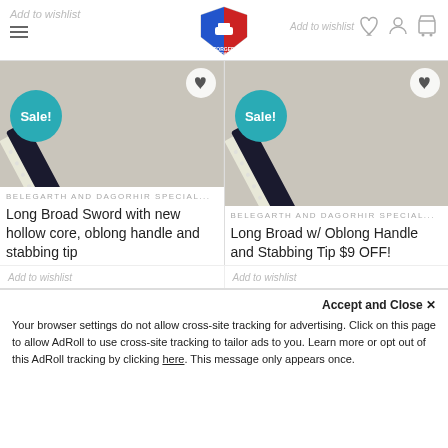Add to wishlist | Forged Foam logo | Add to wishlist
[Figure (photo): Long foam broad sword product photo with Sale! badge and wishlist heart icon, on gray fabric background]
[Figure (photo): Long foam broad sword with oblong handle product photo with Sale! badge and wishlist heart icon, on gray fabric background]
BELEGARTH AND DAGORHIR SPECIAL...
BELEGARTH AND DAGORHIR SPECIAL...
Long Broad Sword with new hollow core, oblong handle and stabbing tip
Long Broad w/ Oblong Handle and Stabbing Tip $9 OFF!
$55.00  $49.00
$53.00  $39.00
Add to wishlist
Add to wishlist
Accept and Close ✕
Your browser settings do not allow cross-site tracking for advertising. Click on this page to allow AdRoll to use cross-site tracking to tailor ads to you. Learn more or opt out of this AdRoll tracking by clicking here. This message only appears once.